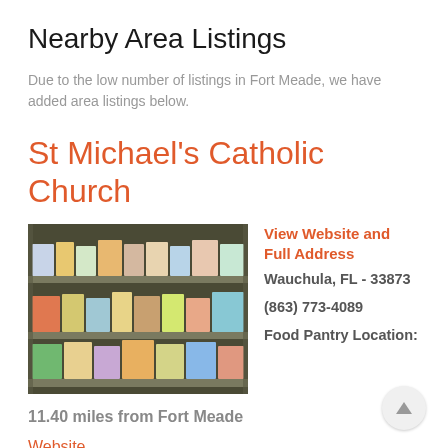Nearby Area Listings
Due to the low number of listings in Fort Meade, we have added area listings below.
St Michael's Catholic Church
[Figure (photo): Photo of food pantry shelves stocked with boxed food items]
View Website and Full Address
Wauchula, FL - 33873
(863) 773-4089
Food Pantry Location:
11.40 miles from Fort Meade
Website